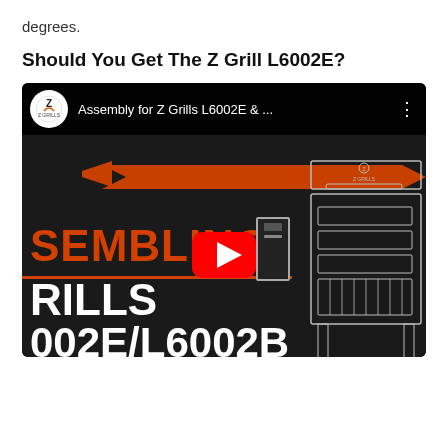degrees.
Should You Get The Z Grill L6002E?
[Figure (screenshot): YouTube video thumbnail showing Z Grills assembly video for L6002E model. Dark background with orange arrow graphic, text reading 'SEMBLING', 'RILLS', '002E/L6002B', Z Grills logo circle, video title 'Assembly for Z Grills L6002E & ...', red YouTube play button, and a line-drawing diagram of the grill on the right side.]